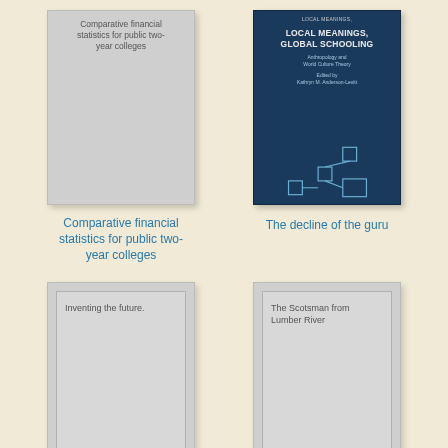[Figure (illustration): Book cover: Comparative financial statistics for public two-year colleges. Gray placeholder cover with title text inside.]
Comparative financial statistics for public two-year colleges
[Figure (illustration): Book cover: Local Meanings, Global Schooling - Anthropology and World Culture Theory, edited by Kathryn M. Anderson-Levitt. Dark navy blue cover with title text and geometric diagram.]
The decline of the guru
[Figure (illustration): Book cover: Inventing the future. Gray placeholder cover with title text inside.]
[Figure (illustration): Book cover: The Scotsman from Lumber River. Gray placeholder cover with title text inside.]